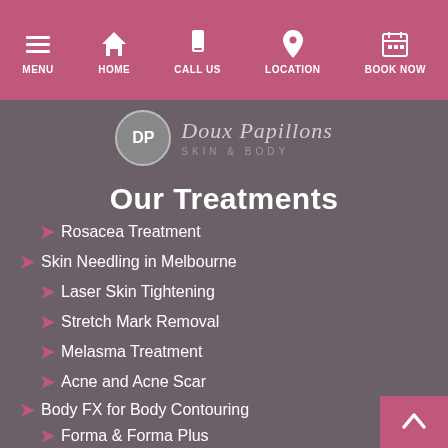MENU | HOME | CALL US | LOCATION | BOOK NOW
[Figure (logo): Doux Papillons Skin & Body logo with DP monogram circle]
Our Treatments
Rosacea Treatment
Skin Needling in Melbourne
Laser Skin Tightening
Stretch Mark Removal
Melasma Treatment
Acne and Acne Scar
Body FX for Body Contouring
Forma & Forma Plus
Laser 4D Facelift